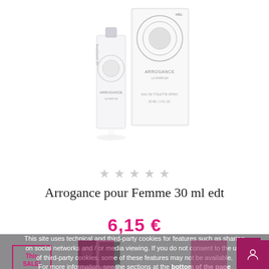[Figure (photo): Product photo of Arrogance pour Femme 30ml edt perfume bottle and box, white background.]
★ ★ ★ ★ ★
Arrogance pour Femme 30 ml edt
6,15 €
This site uses technical and third-party cookies for features such as sharing on social networks and / or media viewing. If you do not consent to the use of third-party cookies, some of these features may not be available. For more information, see the sections at the bottom of the page